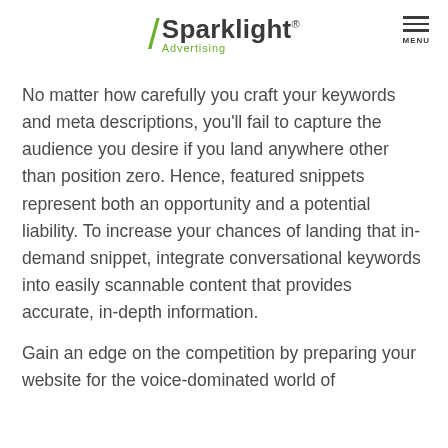Sparklight Advertising
No matter how carefully you craft your keywords and meta descriptions, you'll fail to capture the audience you desire if you land anywhere other than position zero. Hence, featured snippets represent both an opportunity and a potential liability. To increase your chances of landing that in-demand snippet, integrate conversational keywords into easily scannable content that provides accurate, in-depth information.
Gain an edge on the competition by preparing your website for the voice-dominated world of